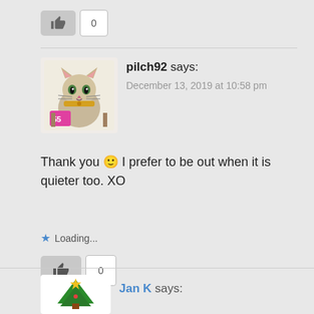[Figure (other): Thumbs up like button with count 0 at top]
[Figure (other): Avatar image of a cat character for user pilch92]
pilch92 says:
December 13, 2019 at 10:58 pm
Thank you 🙂 I prefer to be out when it is quieter too. XO
Loading...
[Figure (other): Thumbs up like button with count 0]
[Figure (other): Avatar image of a Christmas tree for user Jan K]
Jan K says: